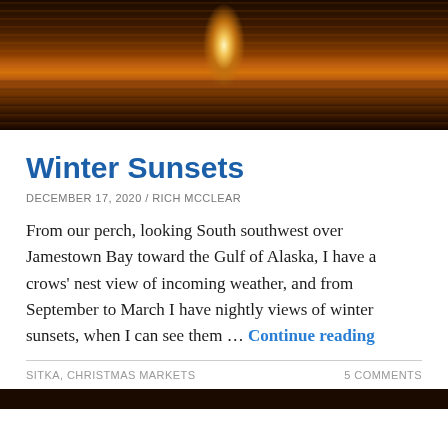[Figure (photo): A sunset over water, likely Jamestown Bay, with golden-orange light reflecting on the dark water surface.]
Winter Sunsets
DECEMBER 17, 2020 / RICH MCCLEAR
From our perch, looking South southwest over Jamestown Bay toward the Gulf of Alaska, I have a crows' nest view of incoming weather, and from September to March I have nightly views of winter sunsets, when I can see them … Continue reading
SITKA, CHRISTMAS MARKETS
5 COMMENTS
[Figure (photo): Bottom edge of another blog post photo, dark background visible.]